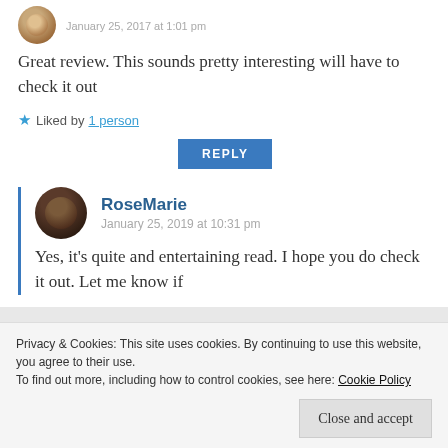Great review. This sounds pretty interesting will have to check it out
★ Liked by 1 person
REPLY
RoseMarie
January 25, 2019 at 10:31 pm
Yes, it's quite and entertaining read. I hope you do check it out. Let me know if
Privacy & Cookies: This site uses cookies. By continuing to use this website, you agree to their use.
To find out more, including how to control cookies, see here: Cookie Policy
Close and accept